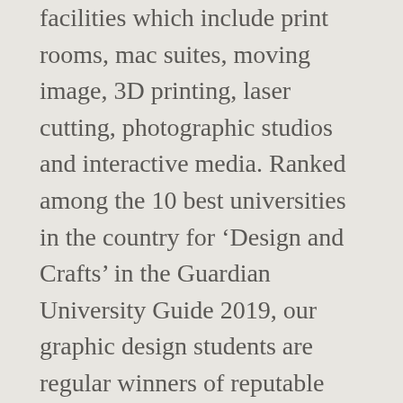facilities which include print rooms, mac suites, moving image, 3D printing, laser cutting, photographic studios and interactive media. Ranked among the 10 best universities in the country for 'Design and Crafts' in the Guardian University Guide 2019, our graphic design students are regular winners of reputable design competitions such as D&AD, YCN and the Penguin Student Design Awards. January 12, 2021. Get an intern; Projects; Job portal; For students. 7. English. As CIID is focused on the broad potential of design and technology, we ensure that the Interaction Design Programme has a wide selection of participants and we welcome applicants from all over the world and from all backgrounds. The Computer Science